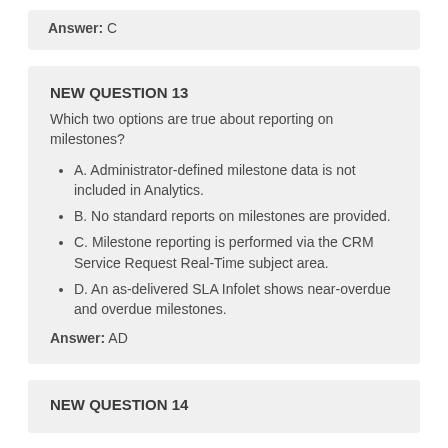Answer: C
NEW QUESTION 13
Which two options are true about reporting on milestones?
A. Administrator-defined milestone data is not included in Analytics.
B. No standard reports on milestones are provided.
C. Milestone reporting is performed via the CRM Service Request Real-Time subject area.
D. An as-delivered SLA Infolet shows near-overdue and overdue milestones.
Answer: AD
NEW QUESTION 14